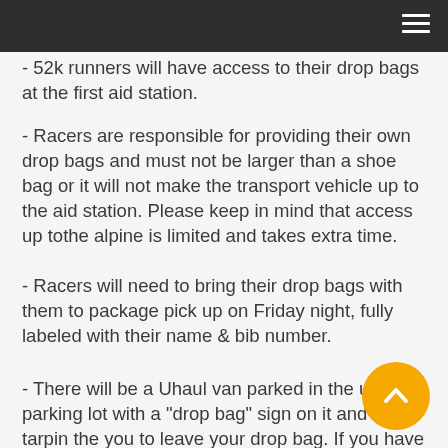- 52k runners will have access to their drop bags at the first aid station.
- Racers are responsible for providing their own drop bags and must not be larger than a shoe bag or it will not make the transport vehicle up to the aid station. Please keep in mind that access up tothe alpine is limited and takes extra time.
- Racers will need to bring their drop bags with them to package pick up on Friday night, fully labeled with their name & bib number.
- There will be a Uhaul van parked in the upper parking lot with a "drop bag" sign on it and a tarpin the you to leave your drop bag. If you have any questions before leaving your drop bag in the van, please check in with our volunteers at package pick-up for further